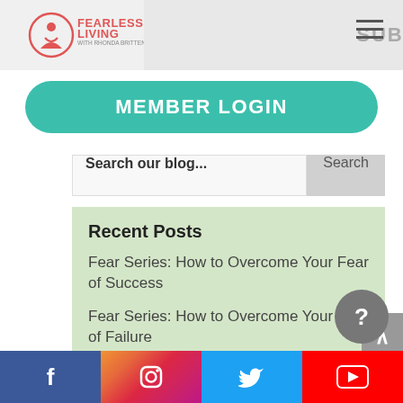Fearless Living with Rhonda Britten | SUBSCRIBE
MEMBER LOGIN
Search our blog...
Recent Posts
Fear Series: How to Overcome Your Fear of Success
Fear Series: How to Overcome Your Fear of Failure
Your Voice Matters!
The Real Reason Why I Was Born
Do You Trust Your Decisions?
Facebook | Instagram | Twitter | YouTube